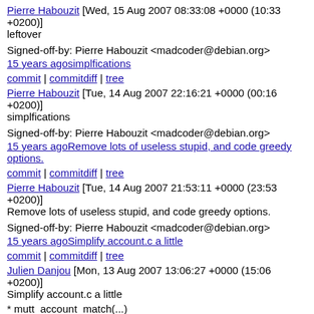Pierre Habouzit [Wed, 15 Aug 2007 08:33:08 +0000 (10:33 +0200)]
leftover
Signed-off-by: Pierre Habouzit <madcoder@debian.org>
15 years agosimplfications
commit | commitdiff | tree
Pierre Habouzit [Tue, 14 Aug 2007 22:16:21 +0000 (00:16 +0200)]
simplfications
Signed-off-by: Pierre Habouzit <madcoder@debian.org>
15 years agoRemove lots of useless stupid, and code greedy options.
commit | commitdiff | tree
Pierre Habouzit [Tue, 14 Aug 2007 21:53:11 +0000 (23:53 +0200)]
Remove lots of useless stupid, and code greedy options.
Signed-off-by: Pierre Habouzit <madcoder@debian.org>
15 years agoSimplify account.c a little
commit | commitdiff | tree
Julien Danjou [Mon, 13 Aug 2007 13:06:27 +0000 (15:06 +0200)]
Simplify account.c a little
* mutt_account_match(...)